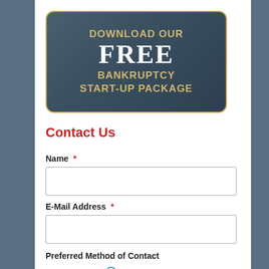[Figure (illustration): Dark blue-gray rounded rectangle banner with gold border. Text reads: DOWNLOAD OUR FREE BANKRUPTCY START-UP PACKAGE in gold and white letters.]
Contact Us
Name *
E-Mail Address *
Preferred Method of Contact
E-mail me